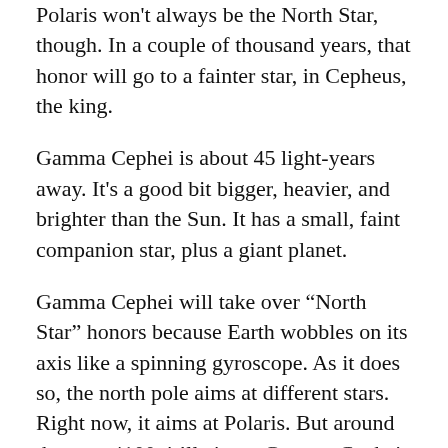Polaris won't always be the North Star, though. In a couple of thousand years, that honor will go to a fainter star, in Cepheus, the king.
Gamma Cephei is about 45 light-years away. It's a good bit bigger, heavier, and brighter than the Sun. It has a small, faint companion star, plus a giant planet.
Gamma Cephei will take over “North Star” honors because Earth wobbles on its axis like a spinning gyroscope. As it does so, the north pole aims at different stars. Right now, it aims at Polaris. But around the year 4100, it’ll aim at Gamma Cephei. And around 7500, it’ll aim at Alpha Cephei, the constellation’s brightest star. Eventually, it’ll return to Polaris — in about 23,000 years.
Cepheus is to the lower right of Polaris as darkness falls. Its brightest stars form an outline that looks like